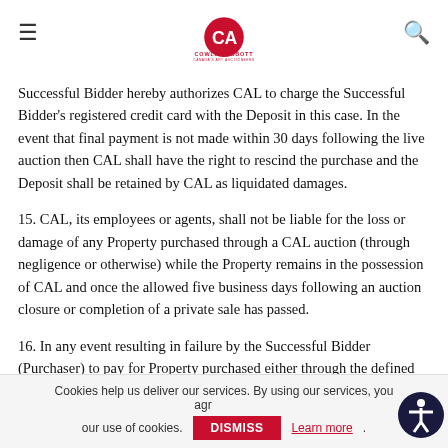Cowley Abbott logo header
Successful Bidder hereby authorizes CAL to charge the Successful Bidder's registered credit card with the Deposit in this case. In the event that final payment is not made within 30 days following the live auction then CAL shall have the right to rescind the purchase and the Deposit shall be retained by CAL as liquidated damages.
15. CAL, its employees or agents, shall not be liable for the loss or damage of any Property purchased through a CAL auction (through negligence or otherwise) while the Property remains in the possession of CAL and once the allowed five business days following an auction closure or completion of a private sale has passed.
16. In any event resulting in failure by the Successful Bidder (Purchaser) to pay for Property purchased either through the defined auction process or a private sale within the five day period following the sale, CAL, in its sole discretion, may re-offer the Property in question without limiting the terms in place with
Cookies help us deliver our services. By using our services, you agree to our use of cookies. DISMISS Learn more.